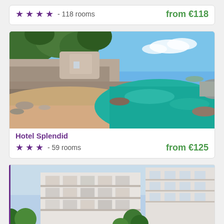★★★★ - 118 rooms   from €118
[Figure (photo): Coastal hotel scene with stone buildings on rocky cliffs above a small beach with turquoise water]
Hotel Splendid
★★★ - 59 rooms   from €125
[Figure (photo): Modern white hotel building exterior with balconies and green trees in foreground]